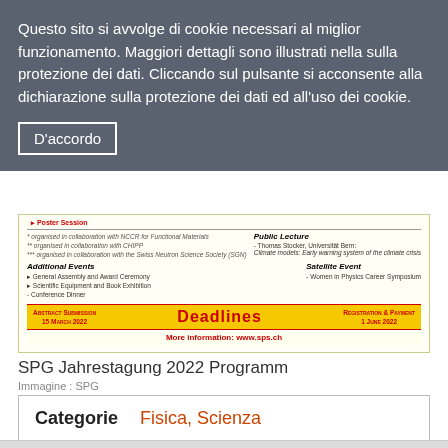Questo sito si avvolge di cookie necessari al miglior funzionamento. Maggiori dettagli sono illustrati nella sulla protezione dei dati. Cliccando sul pulsante si acconsente alla dichiarazione sulla protezione dei dati ed all'uso dei cookie.
D'accordo
[Figure (screenshot): Screenshot of SPG Jahrestagung 2022 conference program flyer showing event details, deadlines (Abstract Submission 15 March 2022, Registration & Payment 1 June 2022), and website www.sps.ch]
SPG Jahrestagung 2022 Programm
Immagine: SPG
Categorie   Fisica, Scienza